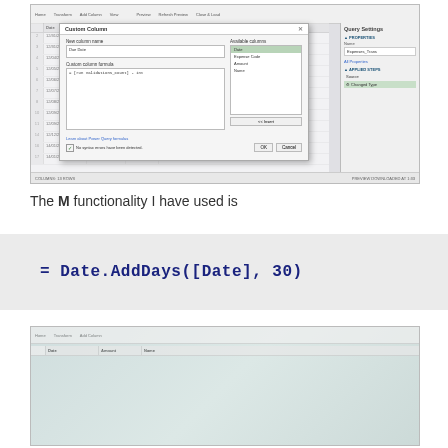[Figure (screenshot): Power Query Editor screenshot showing a Custom Column dialog box. The dialog has a 'New column name' field with 'Due Date', a custom column formula field containing '= [run validations_Count] - int', and an Available Columns panel on the right showing Date, Expense Code, Amount, Name. A checkbox at the bottom reads 'No syntax errors have been detected.' with OK and Cancel buttons. The Query Settings panel on the right shows Properties with Name 'Expenses_Trans', and Applied Steps showing 'Source' and 'Changed Type'.]
The M functionality I have used is
[Figure (screenshot): Bottom portion of a Power Query Editor screenshot showing a spreadsheet with date and numeric data, partially visible.]